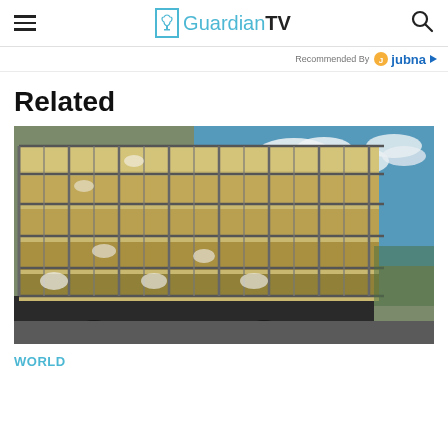GuardianTV
Recommended By jubna
Related
[Figure (photo): A large multi-tiered metal livestock transport truck cage loaded with animals (poultry/pigs), photographed from a low angle against a blue sky with white clouds.]
WORLD